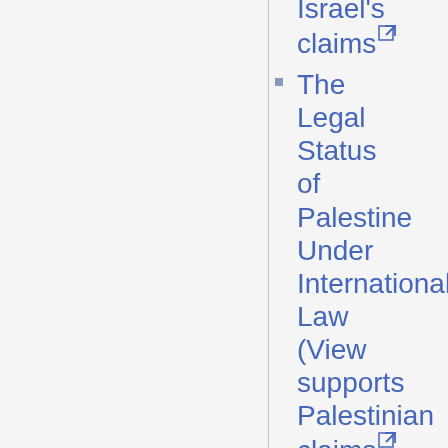Israel's claims
The Legal Status of Palestine Under International Law (View supports Palestinian claims
United Nations